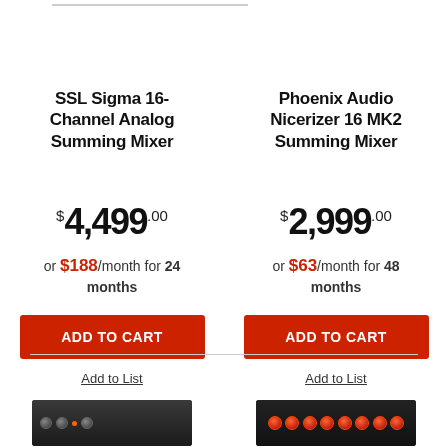SSL Sigma 16-Channel Analog Summing Mixer
$4,499.00
or $188/month for 24 months
ADD TO CART
Add to List
Phoenix Audio Nicerizer 16 MK2 Summing Mixer
$2,999.00
or $63/month for 48 months
ADD TO CART
Add to List
[Figure (photo): Rack-mounted audio device, dark chassis, left column]
[Figure (photo): Rack-mounted audio device with red knobs, right column]